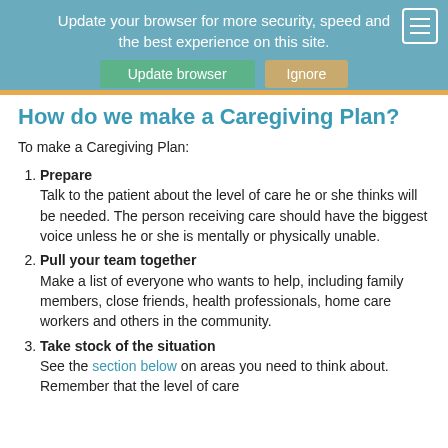Update your browser for more security, speed and the best experience on this site.
How do we make a Caregiving Plan?
To make a Caregiving Plan:
1. Prepare — Talk to the patient about the level of care he or she thinks will be needed. The person receiving care should have the biggest voice unless he or she is mentally or physically unable.
2. Pull your team together — Make a list of everyone who wants to help, including family members, close friends, health professionals, home care workers and others in the community.
3. Take stock of the situation — See the section below on areas you need to think about. Remember that the level of care